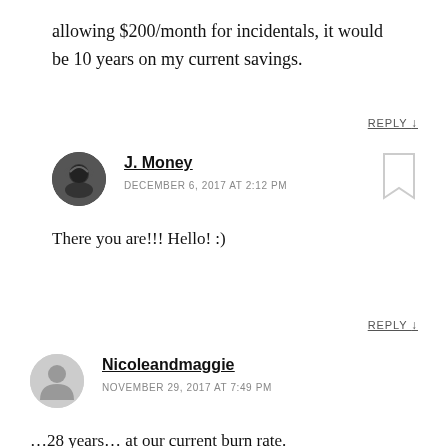allowing $200/month for incidentals, it would be 10 years on my current savings.
REPLY ↓
J. Money
DECEMBER 6, 2017 AT 2:12 PM
There you are!!! Hello! :)
REPLY ↓
Nicoleandmaggie
NOVEMBER 29, 2017 AT 7:49 PM
…28 years… at our current burn rate. Of course, that ignores that a lot of that saved